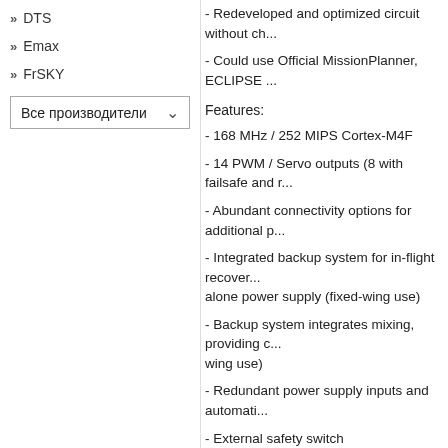DTS
Emax
FrSKY
Все производители
- Redeveloped and optimized circuit without ch...
- Could use Official MissionPlanner, ECLIPSE ...
Features:
- 168 MHz / 252 MIPS Cortex-M4F
- 14 PWM / Servo outputs (8 with failsafe and r...
- Abundant connectivity options for additional p...
- Integrated backup system for in-flight recover... alone power supply (fixed-wing use)
- Backup system integrates mixing, providing c... wing use)
- Redundant power supply inputs and automati...
- External safety switch
- Multicolor LED main visual indicator
- High-power, multi-tone piezo audio indicator
- microSD card for high-rate logging over exter...
Specifications:
Processor
- 32bit STM32F427 Cortex M4 core with FPU